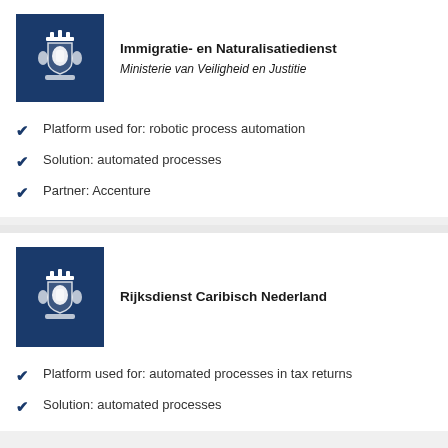[Figure (logo): Immigratie- en Naturalisatiedienst logo with Dutch royal coat of arms on dark blue background]
Immigratie- en Naturalisatiedienst
Ministerie van Veiligheid en Justitie
Platform used for: robotic process automation
Solution: automated processes
Partner: Accenture
[Figure (logo): Rijksdienst Caribisch Nederland logo with Dutch royal coat of arms on dark blue background]
Rijksdienst Caribisch Nederland
Platform used for: automated processes in tax returns
Solution: automated processes